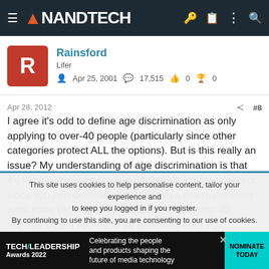AnandTech
Rainsford
Lifer
Apr 25, 2001   17,515   0   0
Apr 28, 2012   #8
I agree it's odd to define age discrimination as only applying to over-40 people (particularly since other categories protect ALL the options). But is this really an issue? My understanding of age discrimination is that it's largely about employers preferring younger workers, since you can generally pay them less and make them work more (among other reasons). Yes, under-40 workers do not appear to be protected from age discrimination...but do they really need to be?
This site uses cookies to help personalise content, tailor your experience and to keep you logged in if you register.
By continuing to use this site, you are consenting to our use of cookies.
[Figure (screenshot): Tech Leadership Awards 2022 advertisement banner]